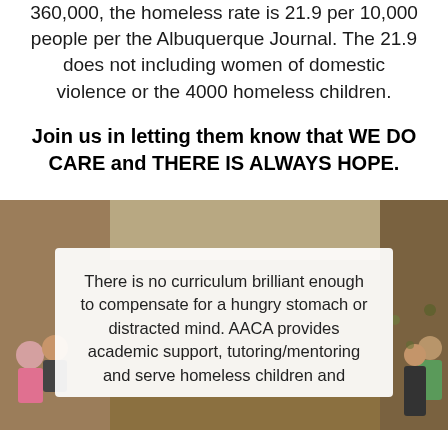360,000, the homeless rate is 21.9 per 10,000 people per the Albuquerque Journal. The 21.9 does not including women of domestic violence or the 4000 homeless children.
Join us in letting them know that WE DO CARE and THERE IS ALWAYS HOPE.
[Figure (photo): Indoor gymnasium with a basketball hoop visible in the background, people sitting in bleachers on the left side, a person standing on the right, warm brown tones throughout.]
There is no curriculum brilliant enough to compensate for a hungry stomach or distracted mind. AACA provides academic support, tutoring/mentoring and serve homeless children and